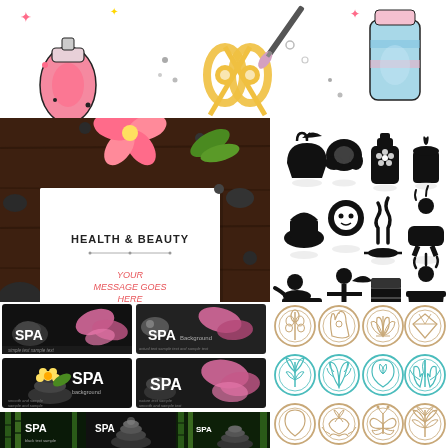[Figure (illustration): Top banner with colorful cartoon beauty tools: nail polish bottle, scissors, makeup brush, cosmetic tube on white background with decorative stars and dots]
[Figure (illustration): Health & Beauty spa promotional card template with tropical flowers (plumeria), dark stones, green leaves on dark wood background, white card in center with 'HEALTH & BEAUTY' text and 'YOUR MESSAGE GOES HERE' placeholder in pink]
[Figure (illustration): Grid of 16 black silhouette spa and wellness icons: tea/steam bowl, massage hands, lotion bottle, candle, cupcake/spa cake, face mask woman, steam/aroma, woman in bath, massage therapy, yoga/stretch, towel/pillow, hot bath person, water drop, high heel shoe, cosmetic bottle, flower/spa splash]
[Figure (illustration): Four spa business card templates: top-left dark with orchid flower and SPA text 'simple text sample text'; top-right dark with stone and orchid 'SPA Background'; bottom-left dark with stones and yellow flower 'SPA background smooth and sample'; bottom-right dark with stones and pink orchids 'SPA nature text sample']
[Figure (illustration): Three vertical spa brochure/banner designs with bamboo and black stones: left has SPA text with decorative elements; center has stacked stones with SPA text; right has bamboo with stacked stones]
[Figure (illustration): 12 circular logo icons in tan/gold and teal/turquoise colors: row 1 tan - wheat/grain, hamsa hand, lotus flower, diamond; row 2 teal - plant/sprout, leaf/fern, water drop with leaf, tulip flower; row 3 tan - water drop, lotus/meditation, butterfly, cannabis/herb leaf; row 4 partial - circular icons]